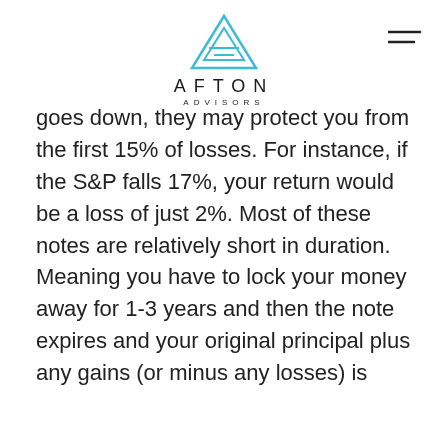[Figure (logo): Afton Advisors logo with teal geometric triangle/mountain icon above the text 'AFTON ADVISORS']
goes down, they may protect you from the first 15% of losses. For instance, if the S&P falls 17%, your return would be a loss of just 2%. Most of these notes are relatively short in duration. Meaning you have to lock your money away for 1-3 years and then the note expires and your original principal plus any gains (or minus any losses) is